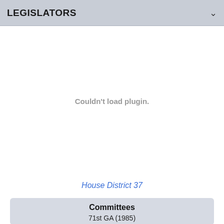LEGISLATORS
Couldn't load plugin.
House District 37
Committees
71st GA (1985)